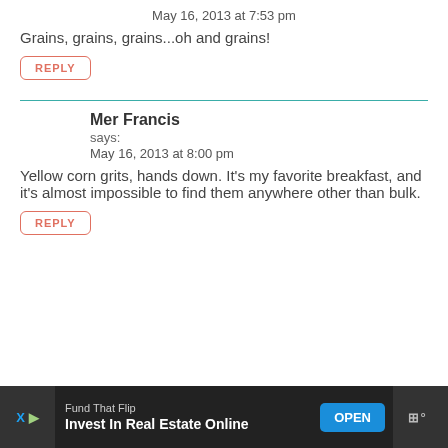May 16, 2013 at 7:53 pm
Grains, grains, grains...oh and grains!
REPLY
Mer Francis
says:
May 16, 2013 at 8:00 pm
Yellow corn grits, hands down. It's my favorite breakfast, and it's almost impossible to find them anywhere other than bulk.
REPLY
Fund That Flip
Invest In Real Estate Online
OPEN